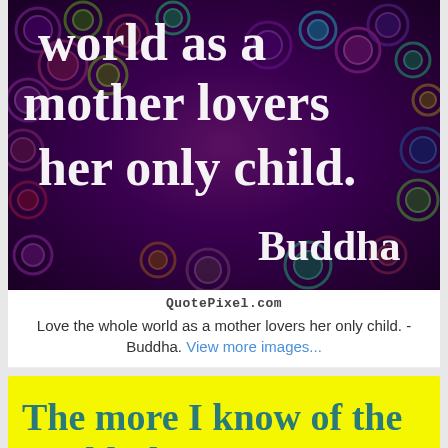[Figure (illustration): Decorative dark purple/green psychedelic circular pattern background with large white serif text reading 'world as a mother lovers her only child.' and 'Buddha' in white bold text at bottom right]
QuotePixel.com
Love the whole world as a mother lovers her only child. - Buddha. View more images...
[Figure (illustration): Bright yellow background with large dark teal/green serif bold text reading 'The more I know of the world, the more I am']